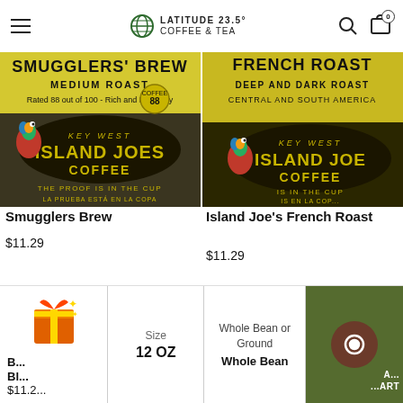Latitude 23.5° Coffee & Tea — navigation header with hamburger menu, logo, search and cart icons
[Figure (photo): Smugglers' Brew Medium Roast coffee bag label — Key West Island Joes Coffee, rated 88 out of 100, Rich and Full Body, parrot graphic]
Smugglers Brew
$11.29
[Figure (photo): Island Joe's French Roast coffee bag label — Deep And Dark Roast, Central And South America, Key West Island Joes Coffee, parrot graphic]
Island Joe's French Roast
$11.29
[Figure (photo): Bottom left product image — blue sky with clouds background]
[Figure (photo): Bottom right product image — dark background with text '100% Arabica - 100% Natural']
B... Bl... $11.29
Size
12 OZ
Whole Bean or Ground
Whole Bean
ADD TO CART